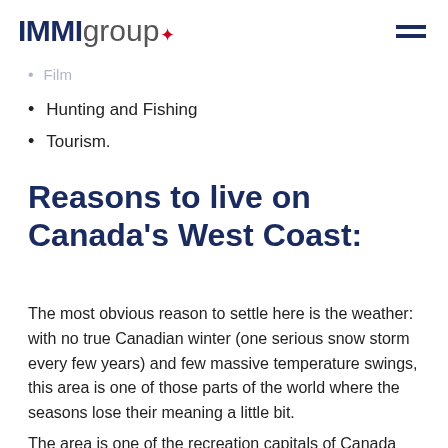IMMIgroup
Natural Resources, particularly Forestry and
Film
Hunting and Fishing
Tourism.
Reasons to live on Canada's West Coast:
The most obvious reason to settle here is the weather: with no true Canadian winter (one serious snow storm every few years) and few massive temperature swings, this area is one of those parts of the world where the seasons lose their meaning a little bit.
The area is one of the recreation capitals of Canada